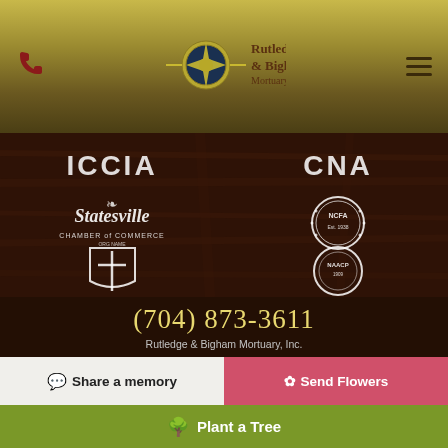Rutledge & Bigham Mortuary, Inc.
[Figure (logo): Header navigation bar with phone icon on left, Rutledge & Bigham Mortuary Inc. logo in center, hamburger menu on right, gold-olive gradient background]
[Figure (illustration): Dark wood-paneled background showing six organization membership logos: ICCIA (top left), CNA (top right), Statesville Chamber of Commerce (middle left), NCFA seal (middle right), cross/shield emblem (bottom left), NAACP seal (bottom right)]
(704) 873-3611
Rutledge & Bigham Mortuary, Inc.
Share a memory
Send Flowers
Plant a Tree